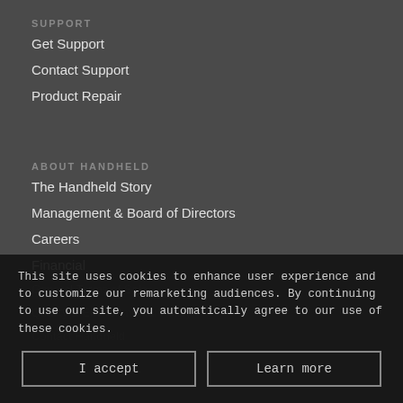SUPPORT
Get Support
Contact Support
Product Repair
ABOUT HANDHELD
The Handheld Story
Management & Board of Directors
Careers
Financial
General Terms of Sale
Quality & Environmental Policy
Contact Handheld
This site uses cookies to enhance user experience and to customize our remarketing audiences. By continuing to use our site, you automatically agree to our use of these cookies.
I accept
Learn more